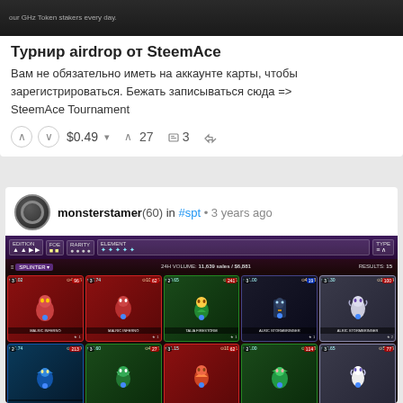[Figure (screenshot): Dark banner image with text about GHz token stakers every day]
Турнир airdrop от SteemAce
Вам не обязательно иметь на аккаунте карты, чтобы зарегистрироваться. Бежать записываться сюда => SteemAce Tournament
$0.49  27  3
monsterstamer (60) in #spt • 3 years ago
[Figure (screenshot): Splinterlands card marketplace screenshot showing game cards with prices and volumes]